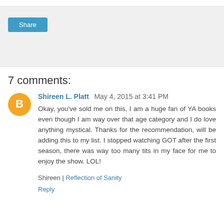[Figure (other): Share box with gray background and a Share button]
7 comments:
Shireen L. Platt May 4, 2015 at 3:41 PM
Okay, you've sold me on this, I am a huge fan of YA books even though I am way over that age category and I do love anything mystical. Thanks for the recommendation, will be adding this to my list. I stopped watching GOT after the first season, there was way too many tits in my face for me to enjoy the show. LOL!
Shireen | Reflection of Sanity
Reply